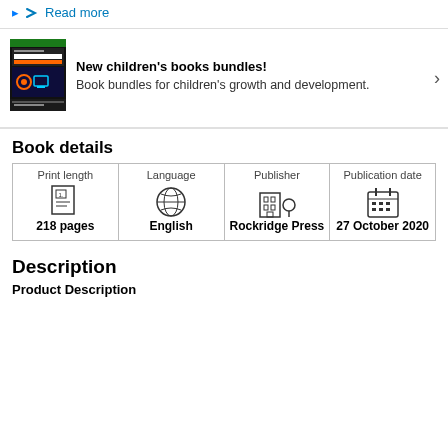Read more
[Figure (illustration): Children's book cover: Numbers, Computers & Coding]
New children's books bundles! Book bundles for children's growth and development.
Book details
| Print length | Language | Publisher | Publication date |
| --- | --- | --- | --- |
| 218 pages | English | Rockridge Press | 27 October 2020 |
Description
Product Description